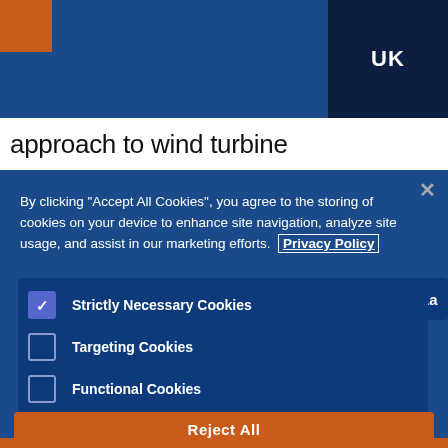UK
approach to wind turbine
By clicking “Accept All Cookies”, you agree to the storing of cookies on your device to enhance site navigation, analyze site usage, and assist in our marketing efforts. Privacy Policy
Strictly Necessary Cookies (checked)
Targeting Cookies
Functional Cookies
Performance Cookies
Reject All